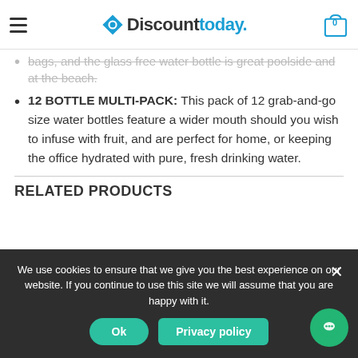Discounttoday. (logo and navigation)
bags, and the glass free water bottle is great poolside and at the beach.
12 BOTTLE MULTI-PACK: This pack of 12 grab-and-go size water bottles feature a wider mouth should you wish to infuse with fruit, and are perfect for home, or keeping the office hydrated with pure, fresh drinking water.
RELATED PRODUCTS
We use cookies to ensure that we give you the best experience on our website. If you continue to use this site we will assume that you are happy with it.